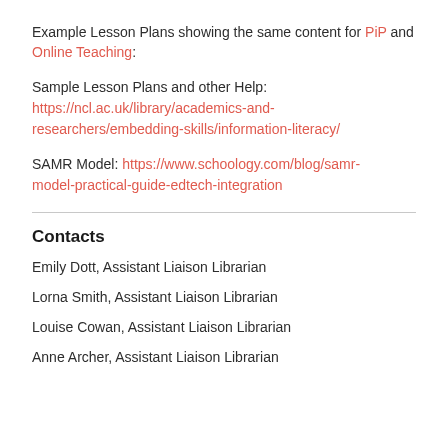Example Lesson Plans showing the same content for PiP and Online Teaching:
Sample Lesson Plans and other Help: https://ncl.ac.uk/library/academics-and-researchers/embedding-skills/information-literacy/
SAMR Model: https://www.schoology.com/blog/samr-model-practical-guide-edtech-integration
Contacts
Emily Dott, Assistant Liaison Librarian
Lorna Smith, Assistant Liaison Librarian
Louise Cowan, Assistant Liaison Librarian
Anne Archer, Assistant Liaison Librarian